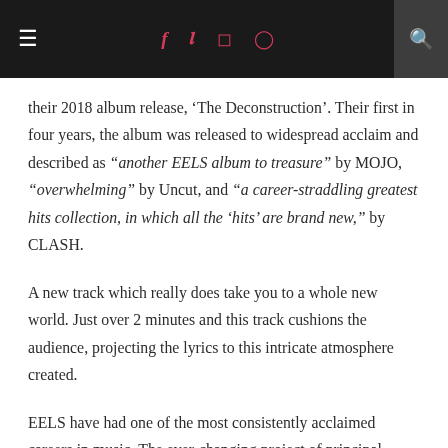≡  f  Twitter  Instagram  Pinterest  🔍
their 2018 album release, 'The Deconstruction'. Their first in four years, the album was released to widespread acclaim and described as "another EELS album to treasure" by MOJO, "overwhelming" by Uncut, and "a career-straddling greatest hits collection, in which all the 'hits' are brand new," by CLASH.
A new track which really does take you to a whole new world. Just over 2 minutes and this track cushions the audience, projecting the lyrics to this intricate atmosphere created.
EELS have had one of the most consistently acclaimed careers in music. The ever-changing project of principal singer/songwriter E (Mark